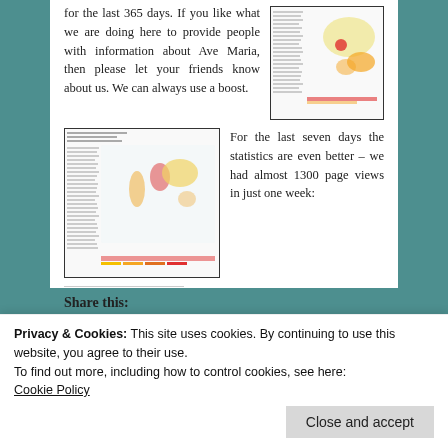for the last 365 days. If you like what we are doing here to provide people with information about Ave Maria, then please let your friends know about us. We can always use a boost.
[Figure (map): World map showing page view statistics by country, displayed as a small thumbnail on the right side]
[Figure (map): World map showing page view statistics for the last seven days, displayed as a thumbnail on the left]
For the last seven days the statistics are even better – we had almost 1300 page views in just one week:
Share this:
[Figure (infographic): Social sharing buttons: Facebook, Twitter, Pinterest, Reddit, Print, Email]
Privacy & Cookies: This site uses cookies. By continuing to use this website, you agree to their use.
To find out more, including how to control cookies, see here:
Cookie Policy
Close and accept